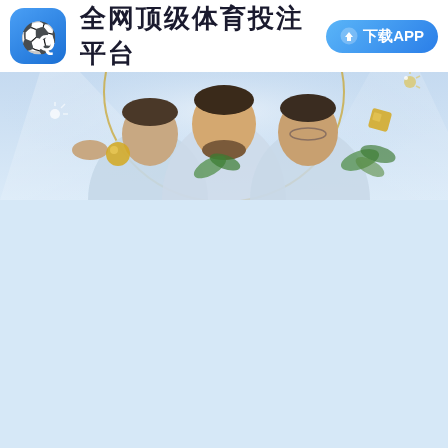[Figure (illustration): Sports betting platform banner. White header bar with blue app icon (soccer player silhouette with 'Q'), large Chinese text '全网顶级体育投注平台' (top-level sports betting platform on the entire internet), and a blue rounded download button with download icon and '下载APP' text. Below is a panoramic banner showing three soccer players (Benzema, Messi, Ronaldo) against a stadium background with gold decorative elements.]